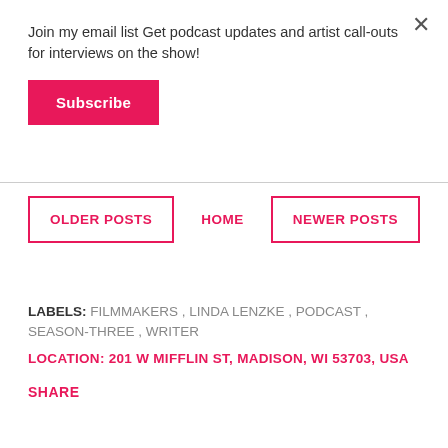Join my email list Get podcast updates and artist call-outs for interviews on the show!
Subscribe
OLDER POSTS
HOME
NEWER POSTS
LABELS: FILMMAKERS , LINDA LENZKE , PODCAST , SEASON-THREE , WRITER
LOCATION: 201 W MIFFLIN ST, MADISON, WI 53703, USA
SHARE